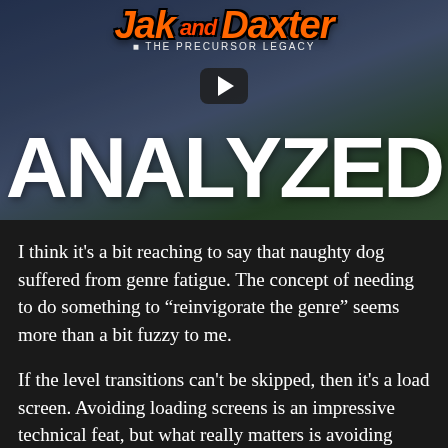[Figure (screenshot): Video thumbnail showing Jak and Daxter: The Precursor Legacy game logo at top with orange flame-styled text, a play button icon in the center, and large white bold text 'ANALYZED' at the bottom, set against a blurred game scene background.]
I think it’s a bit reaching to say that naughty dog suffered from genre fatigue. The concept of needing to do something to “reinvigorate the genre” seems more than a bit fuzzy to me.
If the level transitions can’t be skipped, then it’s a load screen. Avoiding loading screens is an impressive technical feat, but what really matters is avoiding making the player wait for things. Loading screens are kind of unavoidable and